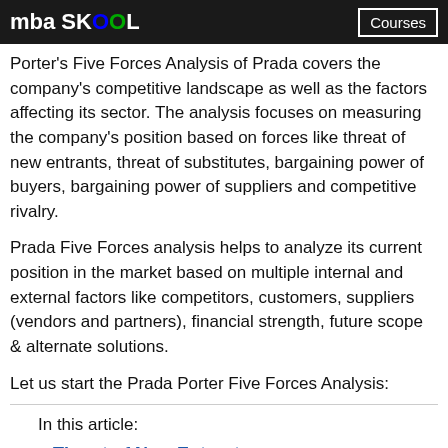mba SKOOL | Courses
Porter's Five Forces Analysis of Prada covers the company's competitive landscape as well as the factors affecting its sector. The analysis focuses on measuring the company's position based on forces like threat of new entrants, threat of substitutes, bargaining power of buyers, bargaining power of suppliers and competitive rivalry.
Prada Five Forces analysis helps to analyze its current position in the market based on multiple internal and external factors like competitors, customers, suppliers (vendors and partners), financial strength, future scope & alternate solutions.
Let us start the Prada Porter Five Forces Analysis:
In this article:
Threat of New Entrants